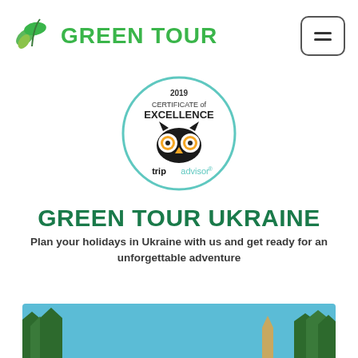[Figure (logo): Green Tour logo with two green leaves and bold green text 'GREEN TOUR']
[Figure (logo): TripAdvisor 2019 Certificate of Excellence badge with owl icon]
GREEN TOUR UKRAINE
Plan your holidays in Ukraine with us and get ready for an unforgettable adventure
[Figure (photo): Bottom strip showing a landscape with blue sky and treetops]